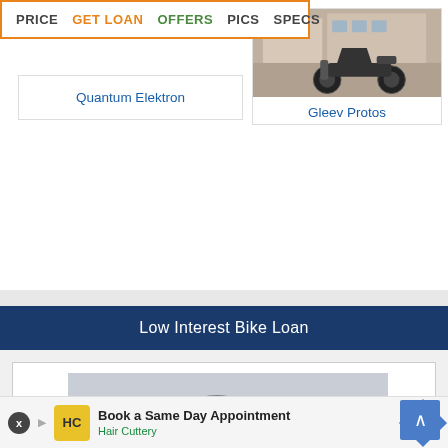PRICE  GET LOAN  OFFERS  PICS  SPECS
Quantum Elektron
[Figure (photo): Electric scooter parked outside a building]
Gleev Protos
Low Interest Bike Loan
[Figure (illustration): Loan advertisement showing a motorcycle illustration on grey background with orange lower half. Text: LOAN FOR BUYING USED OR NEW BIKE, QUICK APPROVAL, LOW EMI]
Book a Same Day Appointment
Hair Cuttery